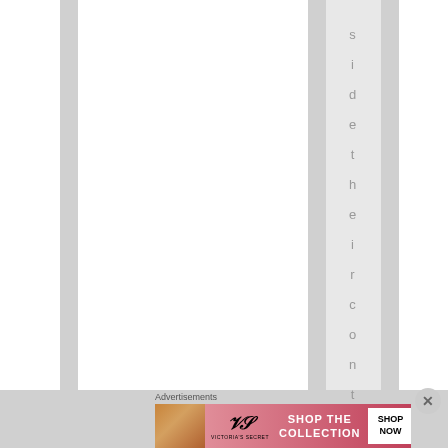sidetheircontrol.
Advertisements
[Figure (illustration): Victoria's Secret advertisement banner with model, VS logo, 'SHOP THE COLLECTION' text, and 'SHOP NOW' button]